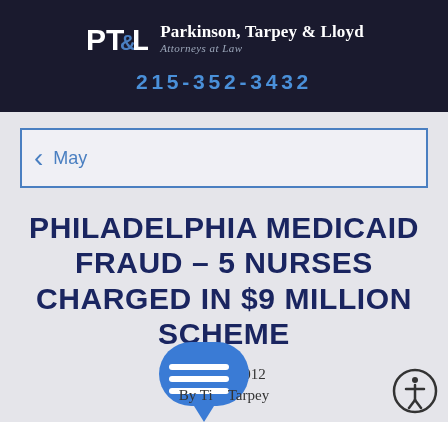PT&L Parkinson, Tarpey & Lloyd Attorneys at Law | 215-352-3432
May
PHILADELPHIA MEDICAID FRAUD – 5 NURSES CHARGED IN $9 MILLION SCHEME
May 21, 2012
By Tim Tarpey